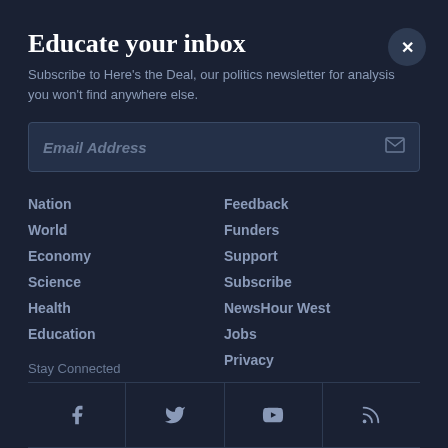Educate your inbox
Subscribe to Here's the Deal, our politics newsletter for analysis you won't find anywhere else.
Email Address
Nation
World
Economy
Science
Health
Education
Feedback
Funders
Support
Subscribe
NewsHour West
Jobs
Privacy
Stay Connected
[Figure (infographic): Social media icons: Facebook, Twitter, YouTube, RSS feed]